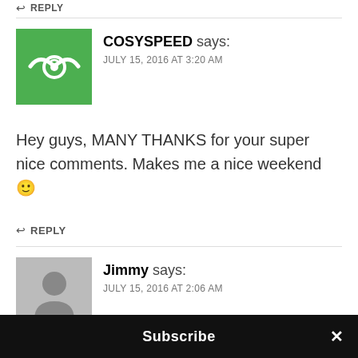↩ REPLY
COSYSPEED says:
JULY 15, 2016 AT 3:20 AM
Hey guys, MANY THANKS for your super nice comments. Makes me a nice weekend 🙂
↩ REPLY
Jimmy says:
JULY 15, 2016 AT 2:06 AM
Like almost everything about the camera, except there is no back button focus button where you
Subscribe ×